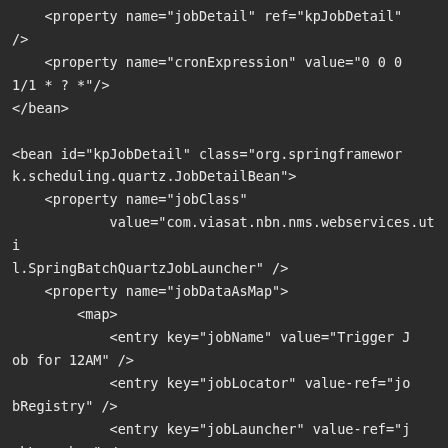<property name="jobDetail" ref="kpJobDetail"
/>
    <property name="cronExpression" value="0 0 0 1/1 * ? *"/>
</bean>

<bean id="kpJobDetail" class="org.springframework.scheduling.quartz.JobDetailBean">
    <property name="jobClass"
            value="com.viasat.nbn.nms.webservices.util.SpringBatchQuartzJobLauncher" />
    <property name="jobDataAsMap">
        <map>
            <entry key="jobName" value="Trigger Job for 12AM" />
            <entry key="jobLocator" value-ref="jobRegistry" />
            <entry key="jobLauncher" value-ref="jobLauncher" />
        </map>
    </property>
</bean>